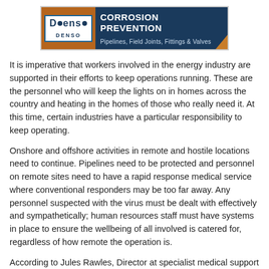[Figure (logo): Denso Corrosion Prevention advertisement banner — blue background with Denso logo on left side over a brown/earthen background image, text reads 'CORROSION PREVENTION' and 'Pipelines, Field Joints, Fittings & Valves']
It is imperative that workers involved in the energy industry are supported in their efforts to keep operations running. These are the personnel who will keep the lights on in homes across the country and heating in the homes of those who really need it. At this time, certain industries have a particular responsibility to keep operating.
Onshore and offshore activities in remote and hostile locations need to continue. Pipelines need to be protected and personnel on remote sites need to have a rapid response medical service where conventional responders may be too far away. Any personnel suspected with the virus must be dealt with effectively and sympathetically; human resources staff must have systems in place to ensure the wellbeing of all involved is catered for, regardless of how remote the operation is.
According to Jules Rawles, Director at specialist medical support company, SSI Energy, there are three core ways companies can help mitigate the effects of Covid-19 for personnel in remote locations:
1. Implement robust screening measures